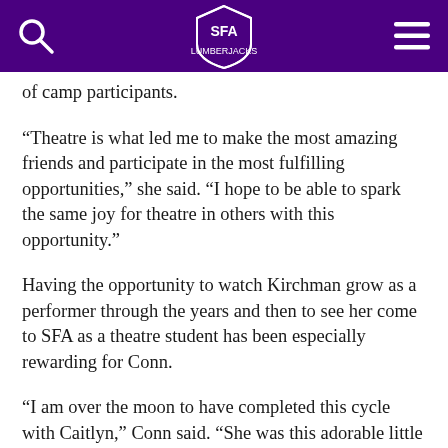SFA (Stephen F. Austin State University) navigation bar with search icon, SFA logo, and menu icon
of camp participants.
“Theatre is what led me to make the most amazing friends and participate in the most fulfilling opportunities,” she said. “I hope to be able to spark the same joy for theatre in others with this opportunity.”
Having the opportunity to watch Kirchman grow as a performer through the years and then to see her come to SFA as a theatre student has been especially rewarding for Conn.
“I am over the moon to have completed this cycle with Caitlyn,” Conn said. “She was this adorable little second grader when I first created the program (adjusted to 3rd grade later), and to have seen her grow through the years and then come to SFA to be a